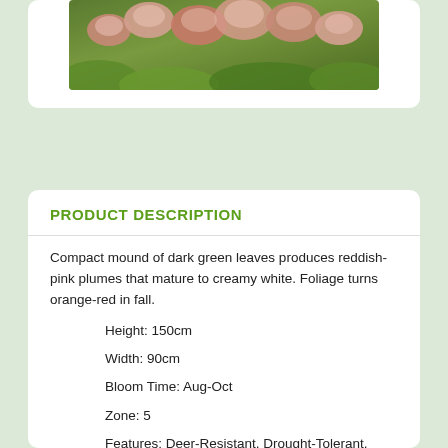[Figure (photo): Photograph of a plant with reddish-pink plumes/flowers against green foliage background]
PRODUCT DESCRIPTION
Compact mound of dark green leaves produces reddish-pink plumes that mature to creamy white. Foliage turns orange-red in fall.
Height: 150cm
Width: 90cm
Bloom Time: Aug-Oct
Zone: 5
Features: Deer-Resistant, Drought-Tolerant, Low-Maintenance
Sun Exposure: Sun, Part-Sun